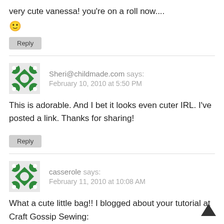very cute vanessa! you're on a roll now....
🙂
Reply
Sheri@childmade.com says: February 10, 2010 at 5:50 PM
This is adorable. And I bet it looks even cuter IRL. I've posted a link. Thanks for sharing!
Reply
casserole says: February 11, 2010 at 10:08 AM
What a cute little bag!! I blogged about your tutorial at Craft Gossip Sewing: